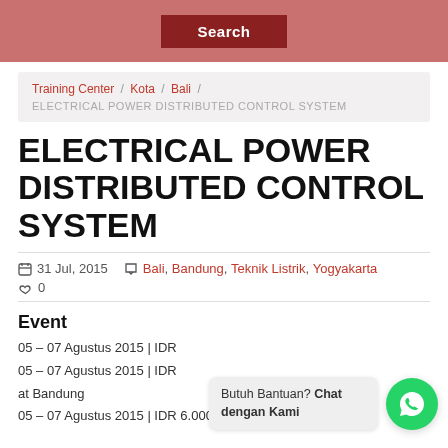Search
Training Center / Kota / Bali / ELECTRICAL POWER DISTRIBUTED CONTROL SYSTEM
ELECTRICAL POWER DISTRIBUTED CONTROL SYSTEM
31 Jul, 2015   Bali, Bandung, Teknik Listrik, Yogyakarta   0
Event
05 – 07 Agustus 2015 | IDR ... at a
05 – 07 Agustus 2015 | IDR ... at Bandung
05 – 07 Agustus 2015 | IDR 6.000.000 per participant